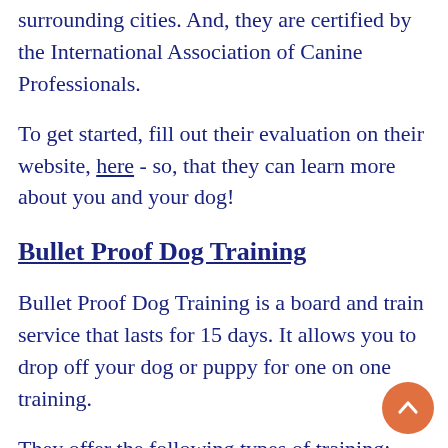surrounding cities. And, they are certified by the International Association of Canine Professionals.
To get started, fill out their evaluation on their website, here - so, that they can learn more about you and your dog!
Bullet Proof Dog Training
Bullet Proof Dog Training is a board and train service that lasts for 15 days. It allows you to drop off your dog or puppy for one on one training.
They offer the following types of training: